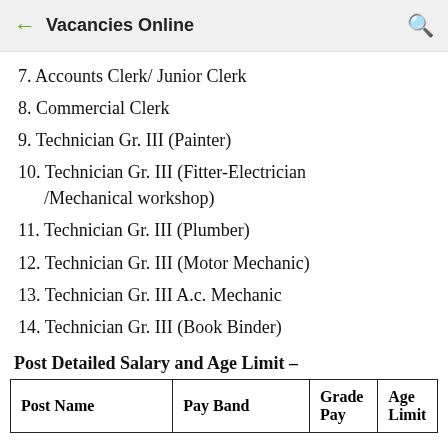Vacancies Online
7. Accounts Clerk/ Junior Clerk
8. Commercial Clerk
9. Technician Gr. III (Painter)
10. Technician Gr. III (Fitter-Electrician /Mechanical workshop)
11. Technician Gr. III (Plumber)
12. Technician Gr. III (Motor Mechanic)
13. Technician Gr. III A.c. Mechanic
14. Technician Gr. III (Book Binder)
Post Detailed Salary and Age Limit –
| Post Name | Pay Band | Grade Pay | Age Limit |
| --- | --- | --- | --- |